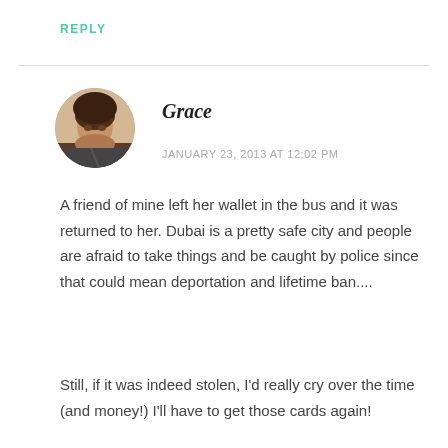REPLY
[Figure (photo): Circular avatar photo of a woman named Grace]
Grace
JANUARY 23, 2013 AT 12:02 PM
A friend of mine left her wallet in the bus and it was returned to her. Dubai is a pretty safe city and people are afraid to take things and be caught by police since that could mean deportation and lifetime ban....
Still, if it was indeed stolen, I'd really cry over the time (and money!) I'll have to get those cards again!